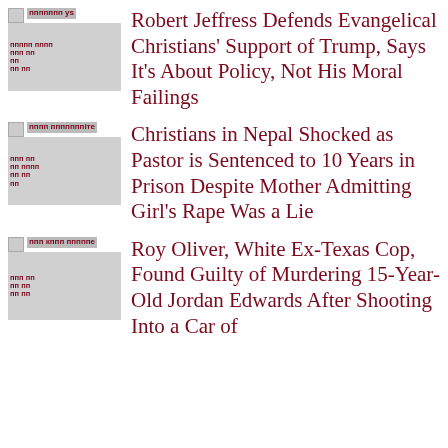[Figure (photo): Broken/loading thumbnail image with red overlaid text for news article 1]
Robert Jeffress Defends Evangelical Christians' Support of Trump, Says It's About Policy, Not His Moral Failings
[Figure (photo): Broken/loading thumbnail image with red overlaid text for news article 2]
Christians in Nepal Shocked as Pastor is Sentenced to 10 Years in Prison Despite Mother Admitting Girl's Rape Was a Lie
[Figure (photo): Broken/loading thumbnail image with red overlaid text for news article 3]
Roy Oliver, White Ex-Texas Cop, Found Guilty of Murdering 15-Year-Old Jordan Edwards After Shooting Into a Car of